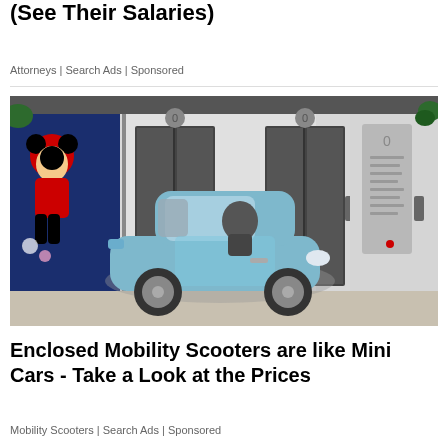(See Their Salaries)
Attorneys | Search Ads | Sponsored
[Figure (photo): A small blue micro/mini car parked in an indoor lobby area in front of elevator doors. A Mickey Mouse cartoon mural is visible on the left wall. Three elevator doors are visible with circular floor indicators above them.]
Enclosed Mobility Scooters are like Mini Cars - Take a Look at the Prices
Mobility Scooters | Search Ads | Sponsored